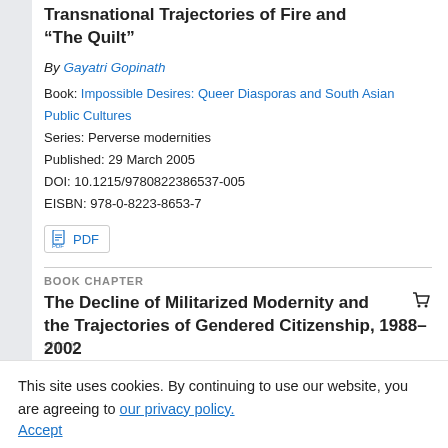Transnational Trajectories of Fire and “The Quilt”
By Gayatri Gopinath
Book: Impossible Desires: Queer Diasporas and South Asian Public Cultures
Series: Perverse modernities
Published: 29 March 2005
DOI: 10.1215/9780822386537-005
EISBN: 978-0-8223-8653-7
PDF
BOOK CHAPTER
The Decline of Militarized Modernity and the Trajectories of Gendered Citizenship, 1988–2002
By Seungsook Moon
This site uses cookies. By continuing to use our website, you are agreeing to our privacy policy.
Accept